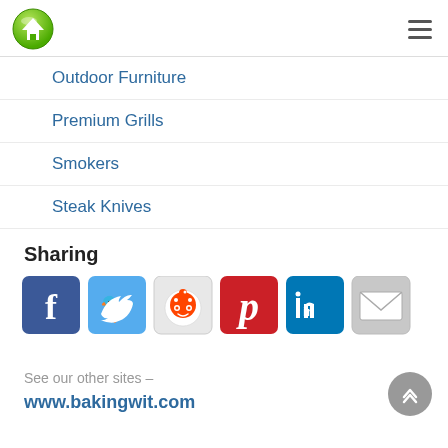Home icon and hamburger menu
Outdoor Furniture
Premium Grills
Smokers
Steak Knives
Sharing
[Figure (infographic): Social sharing icons: Facebook, Twitter, Reddit, Pinterest, LinkedIn, Email]
See our other sites –
www.bakingwit.com